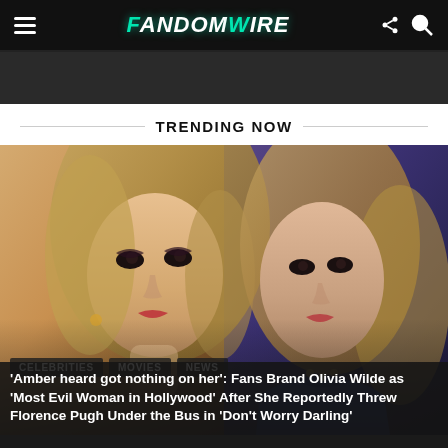FandomWire
TRENDING NOW
[Figure (photo): Split image showing two women: left side is a blonde woman with heavy eye makeup (Amber Heard), right side is a woman in a blue outfit with long wavy hair (Olivia Wilde)]
CELEBRITIES  MOVIES  NEWS
'Amber heard got nothing on her': Fans Brand Olivia Wilde as 'Most Evil Woman in Hollywood' After She Reportedly Threw Florence Pugh Under the Bus in 'Don't Worry Darling'